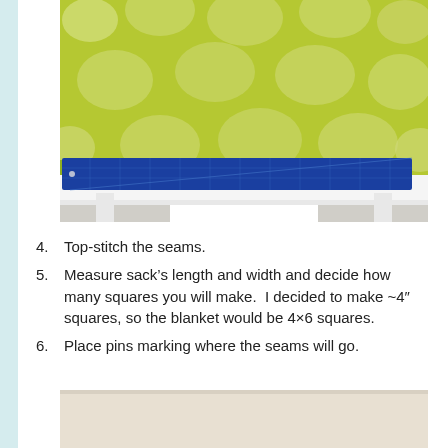[Figure (photo): Green polka-dot fabric laid on a white table with a blue cutting mat and ruler visible at the bottom edge.]
4. Top-stitch the seams.
5. Measure sack’s length and width and decide how many squares you will make.  I decided to make ~4″ squares, so the blanket would be 4×6 squares.
6. Place pins marking where the seams will go.
[Figure (photo): Bottom portion of a photo showing a light beige/cream colored fabric or surface on a table.]